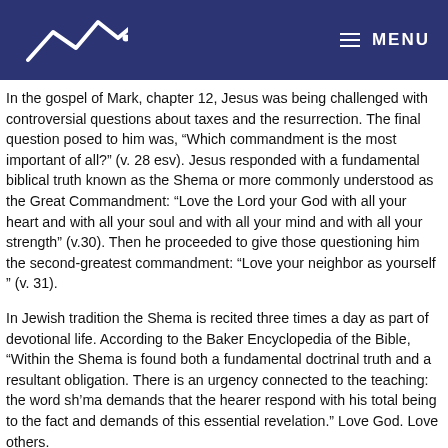MENU
In the gospel of Mark, chapter 12, Jesus was being challenged with controversial questions about taxes and the resurrection. The final question posed to him was, “Which commandment is the most important of all?” (v. 28 esv). Jesus responded with a fundamental biblical truth known as the Shema or more commonly understood as the Great Commandment: “Love the Lord your God with all your heart and with all your soul and with all your mind and with all your strength” (v.30). Then he proceeded to give those questioning him the second-greatest commandment: “Love your neighbor as yourself ” (v. 31).
In Jewish tradition the Shema is recited three times a day as part of devotional life. According to the Baker Encyclopedia of the Bible, “Within the Shema is found both a fundamental doctrinal truth and a resultant obligation. There is an urgency connected to the teaching: the word sh’ma demands that the hearer respond with his total being to the fact and demands of this essential revelation.” Love God. Love others.